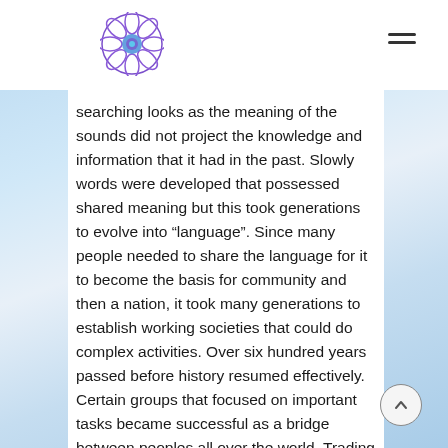[Figure (logo): Circular mandala-style logo with blue and purple geometric pattern]
searching looks as the meaning of the sounds did not project the knowledge and information that it had in the past. Slowly words were developed that possessed shared meaning but this took generations to evolve into “language”. Since many people needed to share the language for it to become the basis for community and then a nation, it took many generations to establish working societies that could do complex activities. Over six hundred years passed before history resumed effectively. Certain groups that focused on important tasks became successful as a bridge between peoples all over the world. Trading using ships, farming, mining and crafts became islands of cooperation and